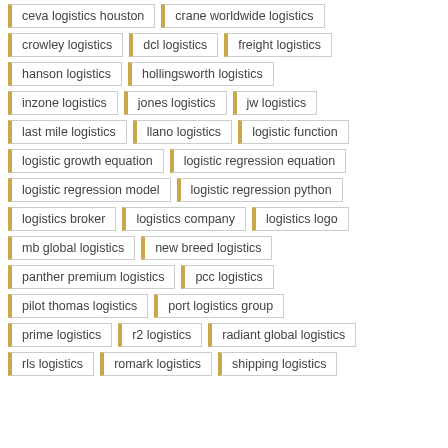ceva logistics houston
crane worldwide logistics
crowley logistics
dcl logistics
freight logistics
hanson logistics
hollingsworth logistics
inzone logistics
jones logistics
jw logistics
last mile logistics
llano logistics
logistic function
logistic growth equation
logistic regression equation
logistic regression model
logistic regression python
logistics broker
logistics company
logistics logo
mb global logistics
new breed logistics
panther premium logistics
pcc logistics
pilot thomas logistics
port logistics group
prime logistics
r2 logistics
radiant global logistics
rls logistics
romark logistics
shipping logistics